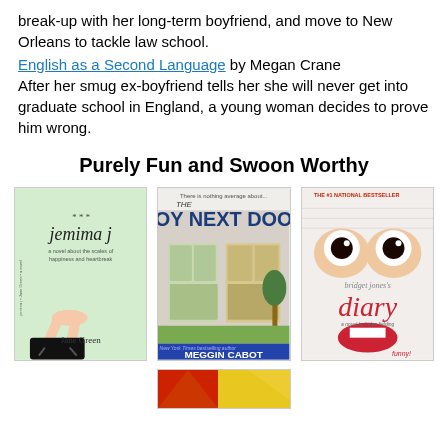break-up with her long-term boyfriend, and move to New Orleans to tackle law school.
English as a Second Language by Megan Crane
After her smug ex-boyfriend tells her she will never get into graduate school in England, a young woman decides to prove him wrong.
Purely Fun and Swoon Worthy
[Figure (photo): Book cover: Jemima J by Jane Green — green cover with illustrated legs in heels]
[Figure (photo): Book cover: The Boy Next Door by Meggin Cabot — illustration of windows on a brick building]
[Figure (photo): Book cover: Bridget Jones's Diary by Helen Fielding — close-up of a face with wide eyes and open mouth, text says 'funny!']
[Figure (photo): Partial book cover with red and yellow design, partially visible at bottom of page]